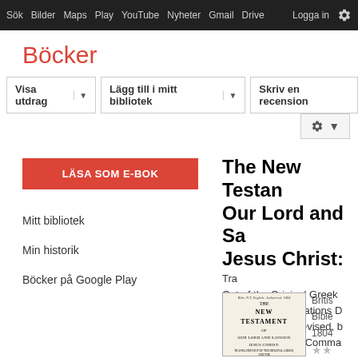Sök  Bilder  Maps  Play  YouTube  Nyheter  Gmail  Drive  Logga in  ⚙
Böcker
Visa utdrag ▼   Lägg till i mitt bibliotek ▼   Skriv en recension
LÄSA SOM E-BOK
Mitt bibliotek
Min historik
Böcker på Google Play
The New Testament of Our Lord and Saviour Jesus Christ: Translated Out of the Original Greek: and with the Former Translations Diligently Compared and Revised, by His Majesty's Special Command
[Figure (photo): Book cover thumbnail for The New Testament, 1804, showing title page with handwritten note at top]
British
Bible
1804
★★
0 Re...